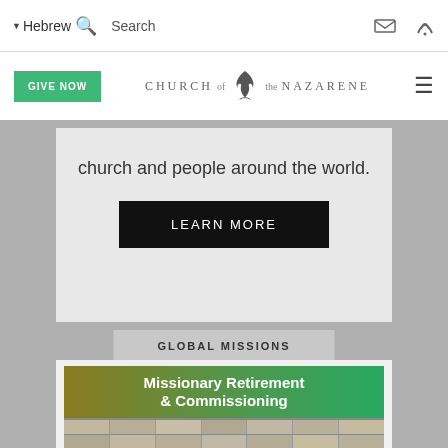▼Hebrew 🔍  Search
[Figure (logo): Church of the Nazarene logo with flame icon]
church and people around the world.
LEARN MORE
GLOBAL MISSIONS
[Figure (photo): Missionary Retirement & Commissioning banner with group photo of missionaries]